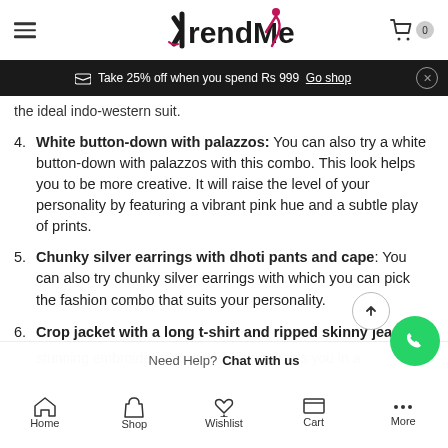[Figure (logo): TrendMe logo with stylized K and fashion figure]
Take 25% off when you spend Rs 999  Go shop
the ideal indo-western suit.
4. White button-down with palazzos: You can also try a white button-down with palazzos with this combo. This look helps you to be more creative. It will raise the level of your personality by featuring a vibrant pink hue and a subtle play of prints.
5. Chunky silver earrings with dhoti pants and cape: You can also try chunky silver earrings with which you can pick the fashion combo that suits your personality.
6. Crop jacket with a long t-shirt and ripped skinny jeans stunning embroidered cropped jacket draws you in … ps
Need Help? Chat with us
Home  Shop  Wishlist  Cart  More